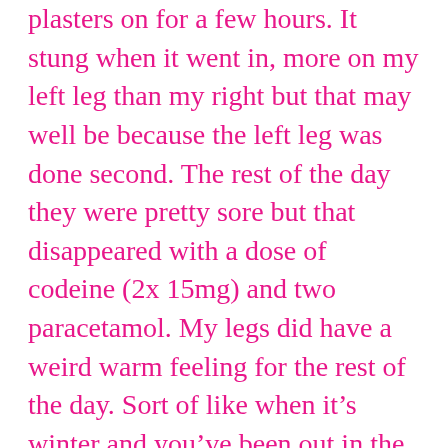plasters on for a few hours.  It stung when it went in, more on my left leg than my right but that may well be because the left leg was done second.  The rest of the day they were pretty sore but that disappeared with a dose of codeine (2x 15mg) and two paracetamol.  My legs did have a weird warm feeling for the rest of the day.  Sort of like when it's winter and you've been out in the cold then come home and wrap up in big socks and under a blanket and are all toasty. However my legs weren't warm to the touch.  Friday they were achy but the “warmth” had gone. Saturday and today they've been fine.
I spoke with the physio Friday morning.  The